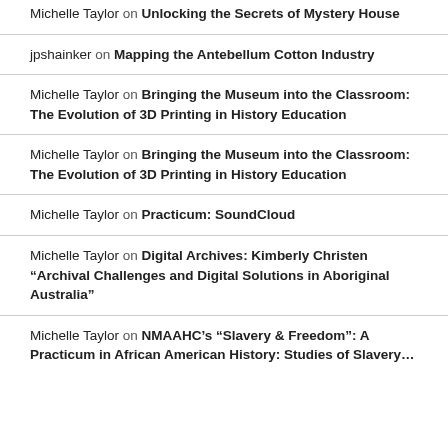Michelle Taylor on Unlocking the Secrets of Mystery House
jpshainker on Mapping the Antebellum Cotton Industry
Michelle Taylor on Bringing the Museum into the Classroom: The Evolution of 3D Printing in History Education
Michelle Taylor on Bringing the Museum into the Classroom: The Evolution of 3D Printing in History Education
Michelle Taylor on Practicum: SoundCloud
Michelle Taylor on Digital Archives: Kimberly Christen “Archival Challenges and Digital Solutions in Aboriginal Australia”
Michelle Taylor on NMAAHC’s “Slavery & Freedom”: A Practicum in African American History: Studies of Slavery…